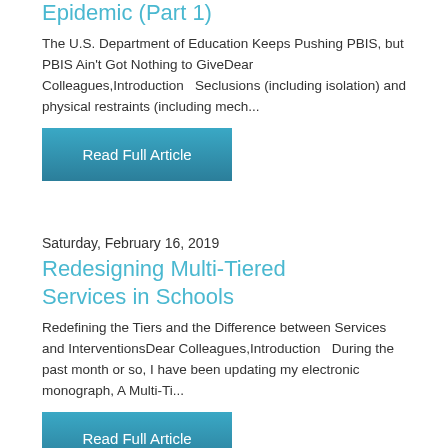Epidemic (Part 1)
The U.S. Department of Education Keeps Pushing PBIS, but PBIS Ain't Got Nothing to GiveDear Colleagues,Introduction   Seclusions (including isolation) and physical restraints (including mech...
Read Full Article
Saturday, February 16, 2019
Redesigning Multi-Tiered Services in Schools
Redefining the Tiers and the Difference between Services and InterventionsDear Colleagues,Introduction   During the past month or so, I have been updating my electronic monograph, A Multi-Ti...
Read Full Article